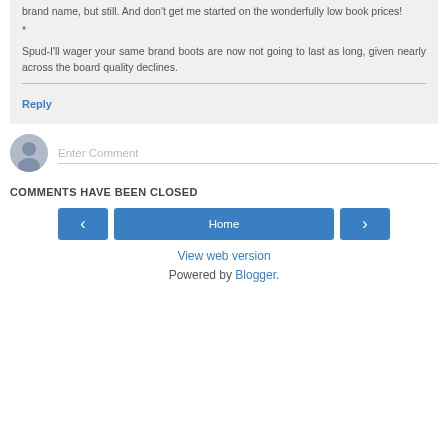brand name, but still. And don't get me started on the wonderfully low book prices!
*
Spud-I'll wager your same brand boots are now not going to last as long, given nearly across the board quality declines.
Reply
Enter Comment
COMMENTS HAVE BEEN CLOSED
Home
View web version
Powered by Blogger.